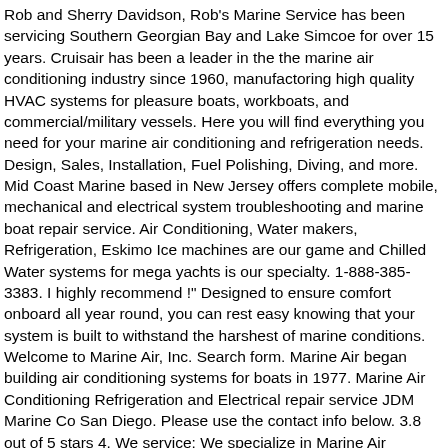Rob and Sherry Davidson, Rob's Marine Service has been servicing Southern Georgian Bay and Lake Simcoe for over 15 years. Cruisair has been a leader in the the marine air conditioning industry since 1960, manufactoring high quality HVAC systems for pleasure boats, workboats, and commercial/military vessels. Here you will find everything you need for your marine air conditioning and refrigeration needs. Design, Sales, Installation, Fuel Polishing, Diving, and more. Mid Coast Marine based in New Jersey offers complete mobile, mechanical and electrical system troubleshooting and marine boat repair service. Air Conditioning, Water makers, Refrigeration, Eskimo Ice machines are our game and Chilled Water systems for mega yachts is our specialty. 1-888-385-3383. I highly recommend !" Designed to ensure comfort onboard all year round, you can rest easy knowing that your system is built to withstand the harshest of marine conditions. Welcome to Marine Air, Inc. Search form. Marine Air began building air conditioning systems for boats in 1977. Marine Air Conditioning Refrigeration and Electrical repair service JDM Marine Co San Diego. Please use the contact info below. 3.8 out of 5 stars 4. We service: We specialize in Marine Air Conditioning, Commercial Air Conditioning & Refrigeration service in Doha, Qatar . 0 / Submit Form. With over 30 years experience in the industry, and as authorized dealers and warranty centre for Marine Air, Cruisair, Eskimo Ice and Sea Recovery, Rever Marine has the expertise to provide you with professional installation, repair, maintenance and